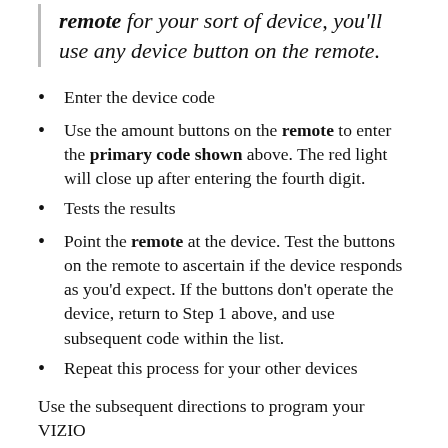remote for your sort of device, you'll use any device button on the remote.
Enter the device code
Use the amount buttons on the remote to enter the primary code shown above. The red light will close up after entering the fourth digit.
Tests the results
Point the remote at the device. Test the buttons on the remote to ascertain if the device responds as you'd expect. If the buttons don't operate the device, return to Step 1 above, and use subsequent code within the list.
Repeat this process for your other devices
Use the subsequent directions to program your VIZIO